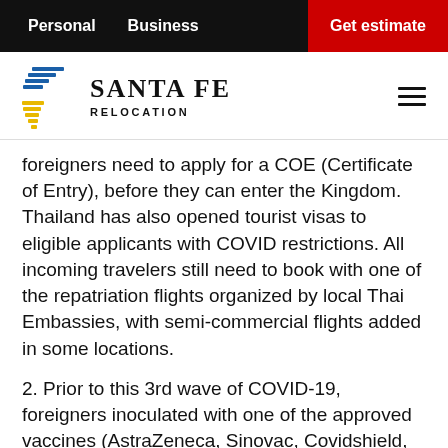Personal   Business   Get estimate
[Figure (logo): Santa Fe Relocation logo with stylized bird/flag icon and text 'SANTA FE RELOCATION']
foreigners need to apply for a COE (Certificate of Entry), before they can enter the Kingdom. Thailand has also opened tourist visas to eligible applicants with COVID restrictions. All incoming travelers still need to book with one of the repatriation flights organized by local Thai Embassies, with semi-commercial flights added in some locations.
2. Prior to this 3rd wave of COVID-19, foreigners inoculated with one of the approved vaccines (AstraZeneca, Sinovac, Covidshield, Janssen, Moderna, Pfizer-Biontech and Sinopharm) would only need to serve 7 days of quarantine. Now they are required to serve 1 day...